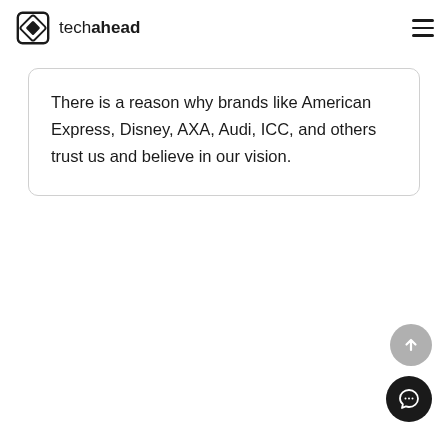techahead
There is a reason why brands like American Express, Disney, AXA, Audi, ICC, and others trust us and believe in our vision.